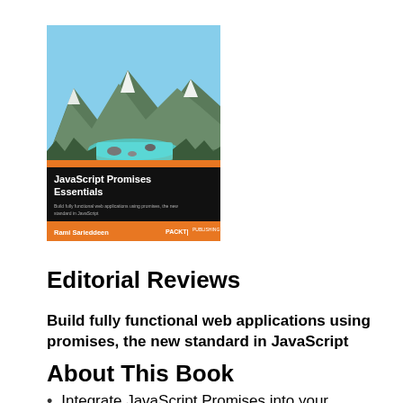[Figure (illustration): Book cover of 'JavaScript Promises Essentials' by Rami Sarieddeen, published by Packt Publishing. Shows mountain landscape with river on top half, black background with orange title text on bottom half.]
Editorial Reviews
Build fully functional web applications using promises, the new standard in JavaScript
About This Book
Integrate JavaScript Promises into your